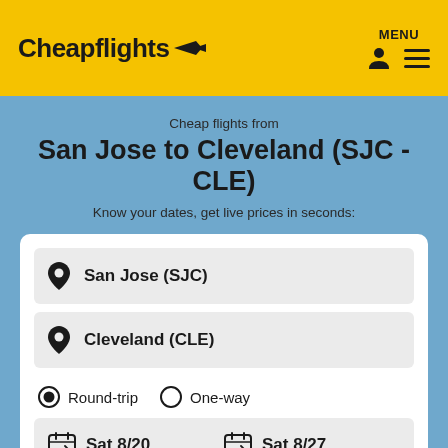[Figure (logo): Cheapflights logo with airplane arrow icon on yellow header background]
MENU
Cheap flights from
San Jose to Cleveland (SJC - CLE)
Know your dates, get live prices in seconds:
San Jose (SJC)
Cleveland (CLE)
Round-trip
One-way
Sat 8/20
Sat 8/27
1 adult, Economy